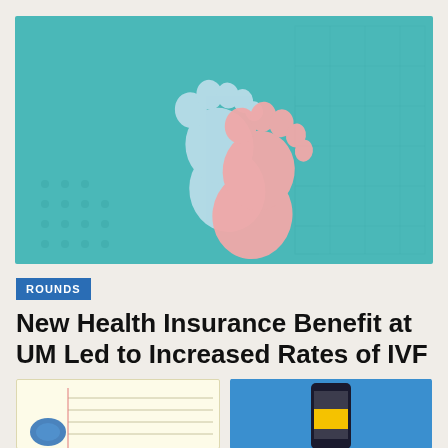[Figure (illustration): Two baby footprints on a teal/turquoise background with subtle dot pattern — one light blue footprint on the left, one pink footprint on the right, symbolizing newborn fertility/IVF topic]
ROUNDS
New Health Insurance Benefit at UM Led to Increased Rates of IVF
[Figure (illustration): Partial view of a notepad with horizontal lines and a blue pen or pencil icon, bottom-left thumbnail]
[Figure (illustration): Partial view of a smartphone with a yellow element on a blue background, bottom-right thumbnail]